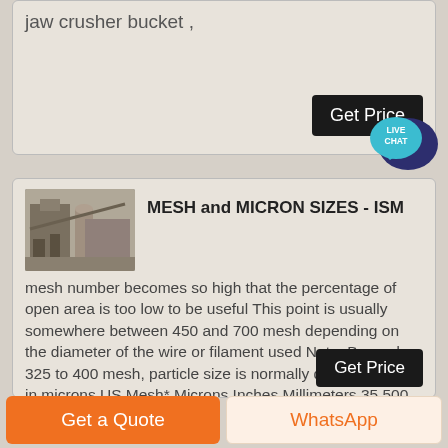jaw crusher bucket ,
Get Price
[Figure (illustration): Live Chat speech bubble icon in teal/blue]
[Figure (photo): Industrial machinery / plant equipment photo thumbnail]
MESH and MICRON SIZES - ISM
mesh number becomes so high that the percentage of open area is too low to be useful This point is usually somewhere between 450 and 700 mesh depending on the diameter of the wire or filament used Note: Beyond 325 to 400 mesh, particle size is normally described only in microns US Mesh* Microns Inches Millimeters 35 500 00197 05000
Get Price
Get a Quote
WhatsApp